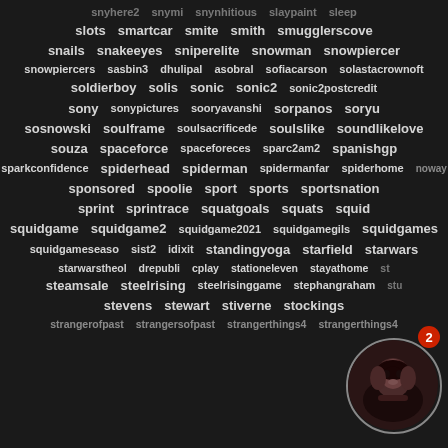Tag cloud listing: slots, smartcar, smite, smith, smugglerscove, snails, snakeeyes, sniperelite, snowman, snowpiercer, snowpiercers, sashin3, dhulipal, asobral, sofiacarson, solastacrownoft, soldierboy, solis, sonic, sonic2, sonic2postcredit, sony, sonypictures, sooryavanshi, sorpanos, soryu, sosnowski, soulframe, soulsacrificede, soulslike, soundlikelove, souza, spaceforce, spaceforeces, space2, sparc2am2, spanishgp, sparkconfidence, spiderhead, spiderman, spidermanfar, spiderhome, spideranoway, sponsored, spoolie, sport, sports, sportsnation, sprint, sprintrace, squatgoals, squats, squid, squidgame, squidgame2, squidgame2021, squidgamegils, squidgames, squidgameseason2, sidixit, standingyoga, starfield, starwars, starwarstheoldhrepublic, statplay, stationelevens, tayathome, st..., steamsale, steelrising, steelrisinggame, stephangraham, stu..., stevens, stewart, stiverne, stockings, strangerofpast, strangersofpast, strangerthings4, strangerthings4
[Figure (photo): Circular avatar of a person with dark hair, in a dark reddish/dimly lit environment]